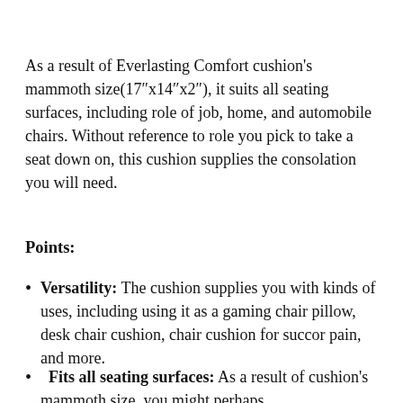As a result of Everlasting Comfort cushion's mammoth size(17"x14"x2"), it suits all seating surfaces, including role of job, home, and automobile chairs. Without reference to role you pick to take a seat down on, this cushion supplies the consolation you will need.
Points:
Versatility: The cushion supplies you with kinds of uses, including using it as a gaming chair pillow, desk chair cushion, chair cushion for succor pain, and more.
Fits all seating surfaces: As a result of cushion's mammoth size, you might perhaps